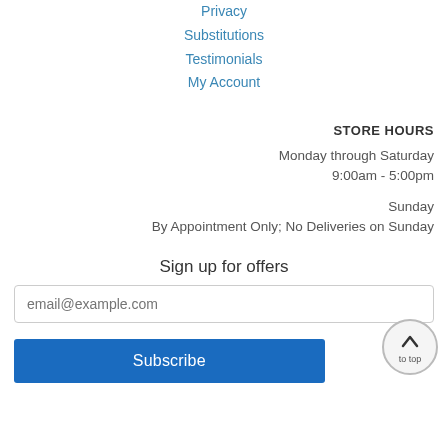Privacy
Substitutions
Testimonials
My Account
STORE HOURS
Monday through Saturday
9:00am - 5:00pm
Sunday
By Appointment Only; No Deliveries on Sunday
Sign up for offers
email@example.com
Subscribe